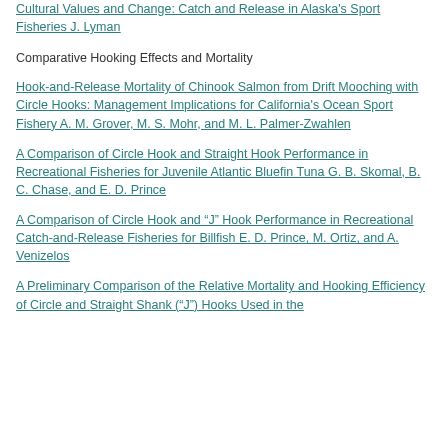Cultural Values and Change: Catch and Release in Alaska's Sport Fisheries J. Lyman
Comparative Hooking Effects and Mortality
Hook-and-Release Mortality of Chinook Salmon from Drift Mooching with Circle Hooks: Management Implications for California's Ocean Sport Fishery A. M. Grover, M. S. Mohr, and M. L. Palmer-Zwahlen
A Comparison of Circle Hook and Straight Hook Performance in Recreational Fisheries for Juvenile Atlantic Bluefin Tuna G. B. Skomal, B. C. Chase, and E. D. Prince
A Comparison of Circle Hook and “J” Hook Performance in Recreational Catch-and-Release Fisheries for Billfish E. D. Prince, M. Ortiz, and A. Venizelos
A Preliminary Comparison of the Relative Mortality and Hooking Efficiency of Circle and Straight Shank (“J”) Hooks Used in the